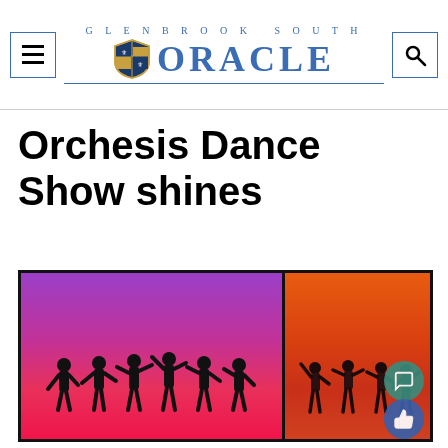GLENBROOK SOUTH ORACLE
Orchesis Dance Show shines
[Figure (photo): Two side-by-side performance photos of dancers on stage: left photo has a purple-to-pink-to-red gradient background with a group of dancers in black posing, right photo has an orange-to-red gradient background with dancers in lighter costumes performing.]